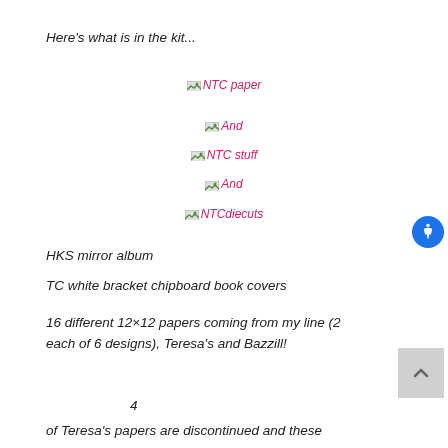Here's what is in the kit...
[Figure (other): Broken image placeholder for 'NTC paper']
[Figure (other): Broken image placeholder for 'And']
[Figure (other): Broken image placeholder for 'NTC stuff']
[Figure (other): Broken image placeholder for 'And']
[Figure (other): Broken image placeholder for 'NTCdiecuts']
HKS mirror album
TC white bracket chipboard book covers
16 different 12×12 papers coming from my line (2 each of 6 designs), Teresa's and Bazzill!
4
of Teresa's papers are discontinued and these